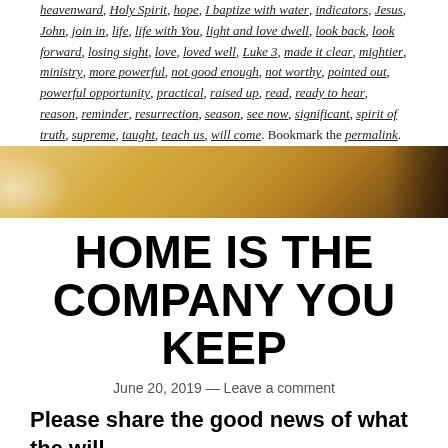heavenward, Holy Spirit, hope, I baptize with water, indicators, Jesus, John, join in, life, life with You, light and love dwell, look back, look forward, losing sight, love, loved well, Luke 3, made it clear, mightier, ministry, more powerful, not good enough, not worthy, pointed out, powerful opportunity, practical, raised up, read, ready to hear, reason, reminder, resurrection, season, see now, significant, spirit of truth, supreme, taught, teach us, will come. Bookmark the permalink.
[Figure (photo): A warm golden-toned banner image with bokeh light effects, appearing to show an outdoor scene with warm sunlight.]
HOME IS THE COMPANY YOU KEEP
June 20, 2019 — Leave a comment
Please share the good news of what the will...